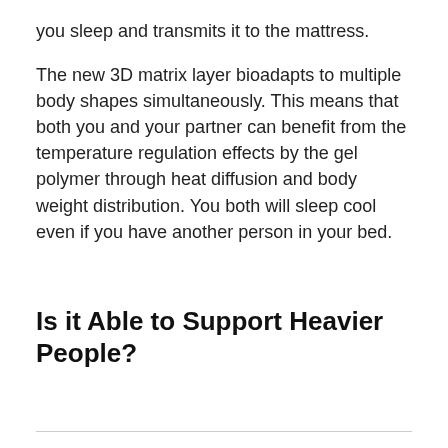you sleep and transmits it to the mattress.
The new 3D matrix layer bioadapts to multiple body shapes simultaneously. This means that both you and your partner can benefit from the temperature regulation effects by the gel polymer through heat diffusion and body weight distribution. You both will sleep cool even if you have another person in your bed.
Is it Able to Support Heavier People?